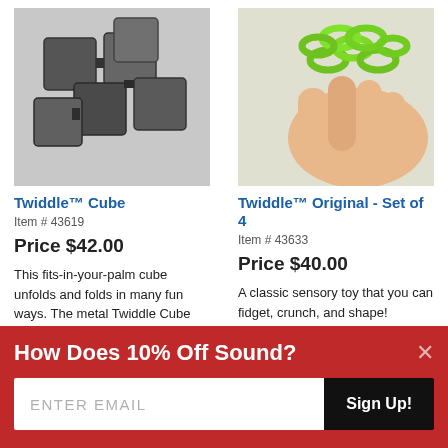[Figure (photo): Metal Twiddle Cube toy product photo - dark metallic cube shape that unfolds]
Twiddle™ Cube
Item # 43619
Price $42.00
This fits-in-your-palm cube unfolds and folds in many fun ways. The metal Twiddle Cube has a heavy,...
[Figure (photo): Green chain-link Twiddle Original toy held in a hand, product photo]
Twiddle™ Original - Set of 4
Item # 43633
Price $40.00
A classic sensory toy that you can fidget, crunch, and shape! Featuring 170 interchangeable pieces...
How Does 10% Off Sound?
ENTER EMAIL
Sign Up!